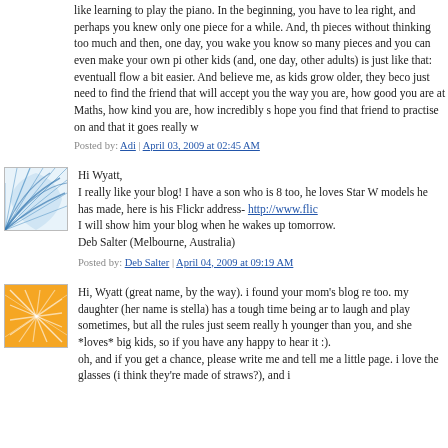like learning to play the piano. In the beginning, you have to lea right, and perhaps you knew only one piece for a while. And, th pieces without thinking too much and then, one day, you wake you know so many pieces and you can even make your own pi other kids (and, one day, other adults) is just like that: eventuall flow a bit easier. And believe me, as kids grow older, they beco just need to find the friend that will accept you the way you are, how good you are at Maths, how kind you are, how incredibly s hope you find that friend to practise on and that it goes really w
Posted by: Adi | April 03, 2009 at 02:45 AM
[Figure (illustration): Blue wave/fan pattern avatar for Deb Salter]
Hi Wyatt,
I really like your blog! I have a son who is 8 too, he loves Star W models he has made, here is his Flickr address- http://www.flic I will show him your blog when he wakes up tomorrow.
Deb Salter (Melbourne, Australia)
Posted by: Deb Salter | April 04, 2009 at 09:19 AM
[Figure (illustration): Orange geometric/lines pattern avatar]
Hi, Wyatt (great name, by the way). i found your mom's blog re too. my daughter (her name is stella) has a tough time being ar to laugh and play sometimes, but all the rules just seem really h younger than you, and she *loves* big kids, so if you have any happy to hear it :).
oh, and if you get a chance, please write me and tell me a little page. i love the glasses (i think they're made of straws?), and i